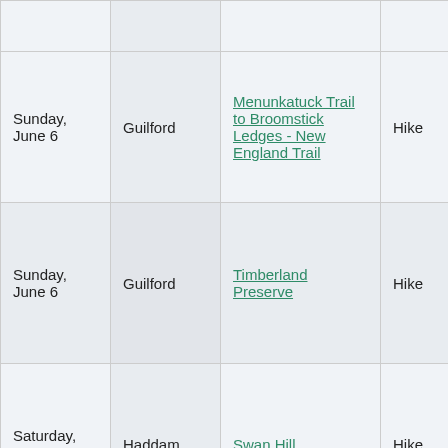|  |  |  |  |
| Sunday, June 6 | Guilford | Menunkatuck Trail to Broomstick Ledges - New England Trail | Hike |
| Sunday, June 6 | Guilford | Timberland Preserve | Hike |
| Saturday, June 5 | Haddam | Swan Hill | Hike |